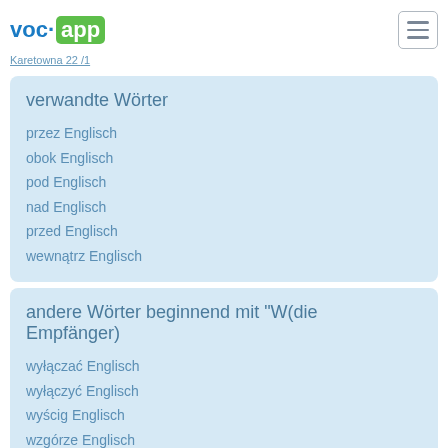voc app
Karetowna 22 /1
verwandte Wörter
przez Englisch
obok Englisch
pod Englisch
nad Englisch
przed Englisch
wewnątrz Englisch
andere Wörter beginnend mit "W(die Empfänger)
wyłączać Englisch
wyłączyć Englisch
wyścig Englisch
wzgórze Englisch
wziąć Englisch